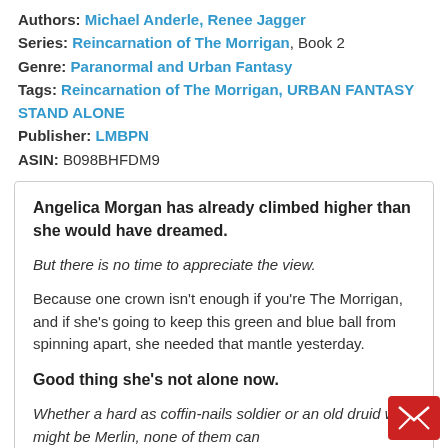Authors: Michael Anderle, Renee Jagger
Series: Reincarnation of The Morrigan, Book 2
Genre: Paranormal and Urban Fantasy
Tags: Reincarnation of The Morrigan, URBAN FANTASY STAND ALONE
Publisher: LMBPN
ASIN: B098BHFDM9
Angelica Morgan has already climbed higher than she would have dreamed.
But there is no time to appreciate the view.
Because one crown isn't enough if you're The Morrigan, and if she's going to keep this green and blue ball from spinning apart, she needed that mantle yesterday.
Good thing she's not alone now.
Whether a hard as coffin-nails soldier or an old druid who might be Merlin, none of them can